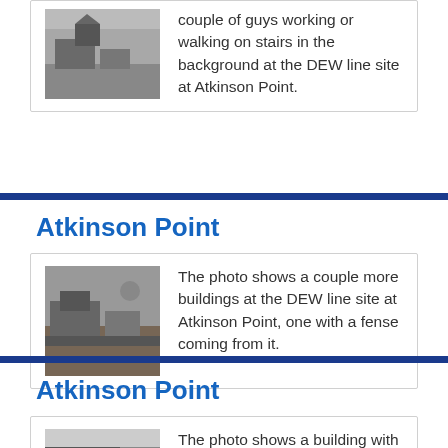[Figure (photo): Black and white photo of buildings at DEW line site at Atkinson Point with couple of guys working or walking on stairs in background]
couple of guys working or walking on stairs in the background at the DEW line site at Atkinson Point.
Atkinson Point
[Figure (photo): Black and white photo showing a couple more buildings at the DEW line site at Atkinson Point, one with a fence coming from it]
The photo shows a couple more buildings at the DEW line site at Atkinson Point, one with a fense coming from it.
Atkinson Point
[Figure (photo): Black and white photo showing a building with a barrel beside it at the DEW line site at Atkinson Point]
The photo shows a building with a barrel beside it at the DEW line site at Atkinson